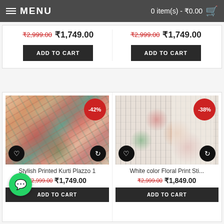MENU    0 item(s) - ₹0.00
₹2,999.00  ₹1,749.00
ADD TO CART
₹2,999.00  ₹1,749.00
ADD TO CART
[Figure (photo): Stylish Printed Kurti Plazzo 1 clothing item with -42% badge, wishlist and compare icons]
Stylish Printed Kurti Plazzo 1
₹2,999.00  ₹1,749.00
ADD TO CART
[Figure (photo): White color Floral Print Sti... clothing item with -38% badge, wishlist and compare icons]
White color Floral Print Sti...
₹2,999.00  ₹1,849.00
ADD TO CART